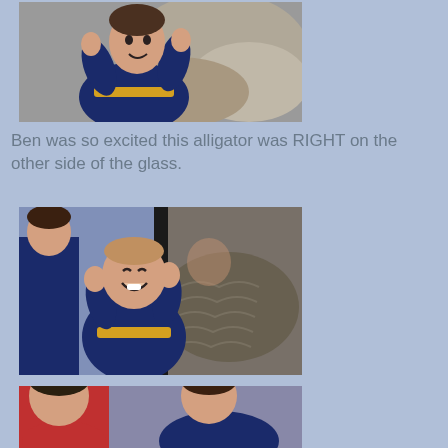[Figure (photo): Young boy in navy and yellow hoodie pressing hands against glass at zoo exhibit, with a large animal (alligator area) visible behind him]
Ben was so excited this alligator was RIGHT on the other side of the glass.
[Figure (photo): Baby/toddler in navy and yellow hoodie smiling and pressing hands on glass at zoo, with an alligator visible on the other side of the glass. Older child visible in background.]
[Figure (photo): Child at zoo exhibit, partially visible, cropped at bottom of page]